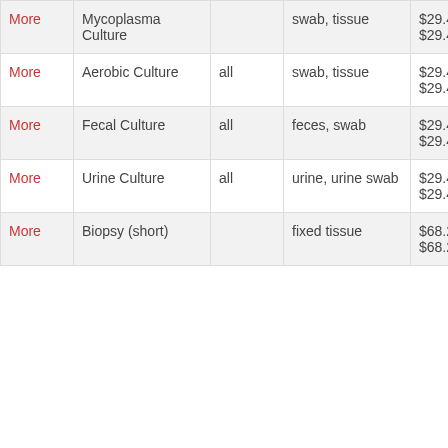|  | Test Name | Species | Sample Type | Price | Lab |
| --- | --- | --- | --- | --- | --- |
| More | Mycoplasma Culture |  | swab, tissue | $29.40 / $29.40 | MVRDL |
| More | Aerobic Culture | all | swab, tissue | $29.40 / $29.40 | MVRDL |
| More | Fecal Culture | all | feces, swab | $29.40 / $29.40 | MVRDL |
| More | Urine Culture | all | urine, urine swab | $29.40 / $29.40 | MVRDL |
| More | Biopsy (short) |  | fixed tissue | $68.25 / $68.25 | MVRDL |